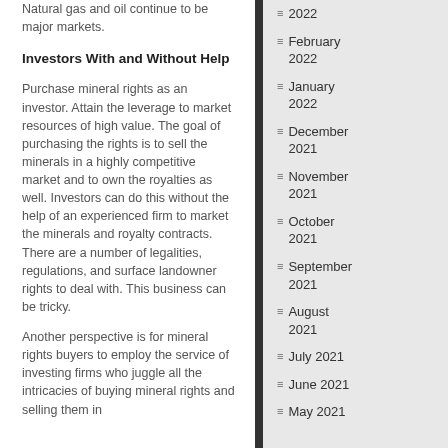Natural gas and oil continue to be major markets.
Investors With and Without Help
Purchase mineral rights as an investor. Attain the leverage to market resources of high value. The goal of purchasing the rights is to sell the minerals in a highly competitive market and to own the royalties as well. Investors can do this without the help of an experienced firm to market the minerals and royalty contracts. There are a number of legalities, regulations, and surface landowner rights to deal with. This business can be tricky.
Another perspective is for mineral rights buyers to employ the service of investing firms who juggle all the intricacies of buying mineral rights and selling them in
2022
February 2022
January 2022
December 2021
November 2021
October 2021
September 2021
August 2021
July 2021
June 2021
May 2021